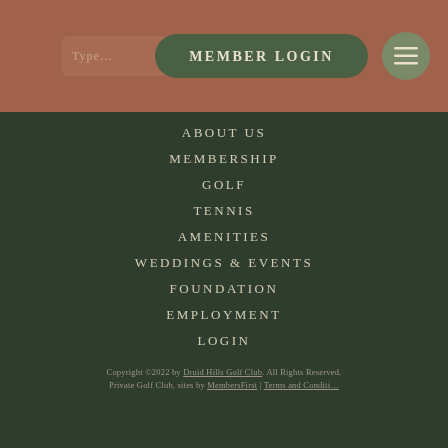MEMBER LOGIN
ABOUT US
MEMBERSHIP
GOLF
TENNIS
AMENITIES
WEDDINGS & EVENTS
FOUNDATION
EMPLOYMENT
LOGIN
Copyright ©2022 by Druid Hills Golf Club. All Rights Reserved. Private Golf Club, sites by MembersFirst | Terms and Conditions